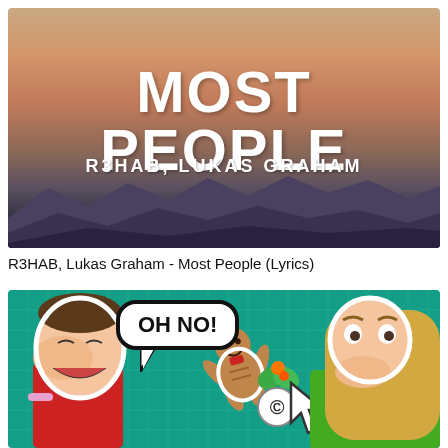[Figure (photo): YouTube thumbnail for R3HAB and Lukas Graham 'Most People' song with sunset sky and mountains background, white bold text reading 'MOST PEOPLE' and 'R3HAB, LUKAS GRAHAM']
R3HAB, Lukas Graham - Most People (Lyrics)
[Figure (photo): YouTube thumbnail showing a child covering their face laughing and a woman with hand over mouth looking shocked, against teal background with 'OH NO!' speech bubble, gingerbread man cookie graphic, and arrow cursor]